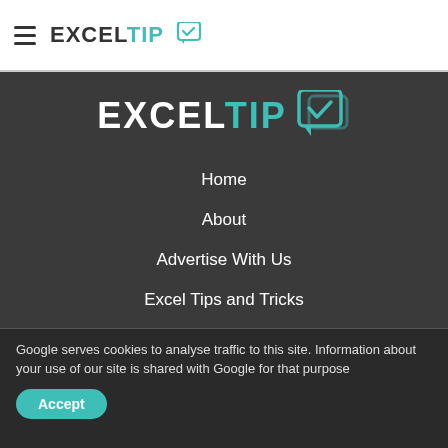ExcelTip
[Figure (logo): ExcelTip logo large with teal chat-bubble icon on dark background]
Home
About
Advertise With Us
Excel Tips and Tricks
Excel Editing
Excel Format
Google serves cookies to analyse traffic to this site. Information about your use of our site is shared with Google for that purpose
Accept